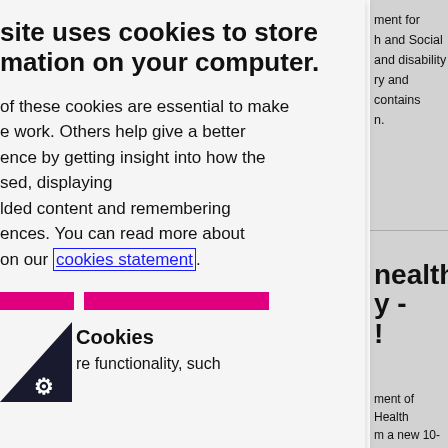site uses cookies to store mation on your computer.
of these cookies are essential to make e work. Others help give a better ence by getting insight into how the sed, displaying lded content and remembering ences. You can read more about on our cookies statement.
I accept | I do not accept
Cookies
re functionality, such
ment for h and Social and disability ry and contains n.
nealth y - !
ment of Health m a new 10-